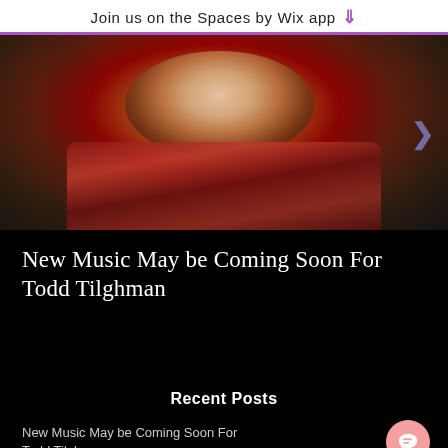Join us on the Spaces by Wix app
[Figure (photo): Photo of a smiling bearded man wearing a red plaid flannel shirt, with a blurred outdoor/architectural background. A right-arrow navigation chevron is visible on the right side.]
New Music May be Coming Soon For Todd Tilghman
Recent Posts
New Music May be Coming Soon For Todd Tilghman